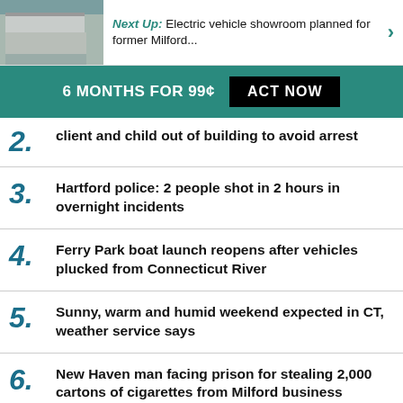Next Up: Electric vehicle showroom planned for former Milford...
6 MONTHS FOR 99¢  ACT NOW
2. client and child out of building to avoid arrest
3. Hartford police: 2 people shot in 2 hours in overnight incidents
4. Ferry Park boat launch reopens after vehicles plucked from Connecticut River
5. Sunny, warm and humid weekend expected in CT, weather service says
6. New Haven man facing prison for stealing 2,000 cartons of cigarettes from Milford business